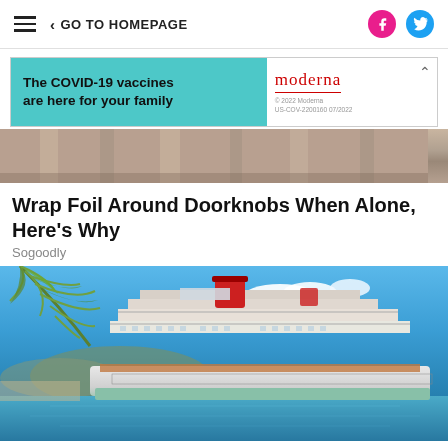≡ < GO TO HOMEPAGE
[Figure (other): Advertisement banner: The COVID-19 vaccines are here for your family — Moderna logo]
[Figure (photo): Partial image of curtains or fabric in warm brown tones]
Wrap Foil Around Doorknobs When Alone, Here's Why
Sogoodly
[Figure (photo): Carnival cruise ship docked at a tropical Caribbean port with palm tree in foreground and blue sky with clouds]
Tips to Help You Get the Best Caribbean